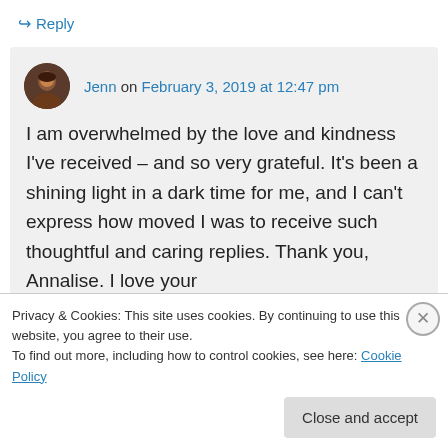↪ Reply
Jenn on February 3, 2019 at 12:47 pm
I am overwhelmed by the love and kindness I've received – and so very grateful. It's been a shining light in a dark time for me, and I can't express how moved I was to receive such thoughtful and caring replies. Thank you, Annalise. I love your
Privacy & Cookies: This site uses cookies. By continuing to use this website, you agree to their use.
To find out more, including how to control cookies, see here: Cookie Policy
Close and accept